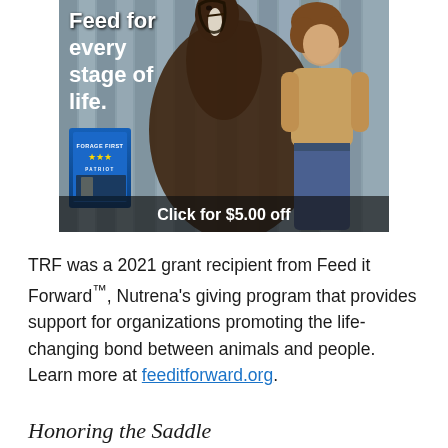[Figure (photo): Advertisement image showing a woman with a horse in a barn, with text 'Feed for every stage of life.' and a Forage First Patriot feed bag product. Banner text reads 'Click for $5.00 off']
TRF was a 2021 grant recipient from Feed it Forward™, Nutrena's giving program that provides support for organizations promoting the life-changing bond between animals and people. Learn more at feeditforward.org.